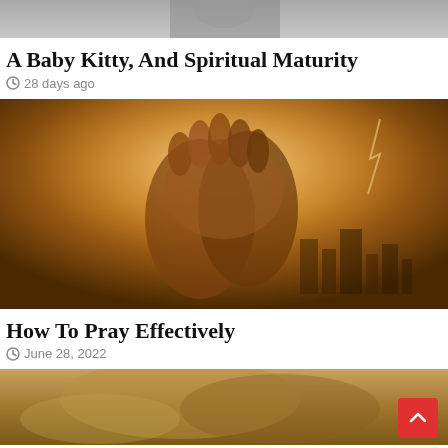[Figure (photo): Partial top image, cropped — appears to show cat or animal scene, gray tones]
A Baby Kitty, And Spiritual Maturity
28 days ago
[Figure (photo): Clasped hands in prayer against a dramatic golden/amber background with city ruins and lightning]
How To Pray Effectively
June 28, 2022
[Figure (photo): Bottom partial image showing a furry cat or animal, warm brown tones]